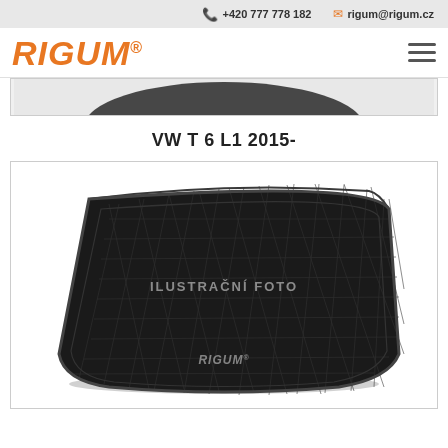+420 777 778 182   rigum@rigum.cz
RIGUM®
[Figure (photo): Partial view of a previous product image, cropped at top]
VW T 6 L1 2015-
[Figure (photo): Rubber car trunk mat (boot liner) for VW T6 L1 2015-, textured black rubber with diamond pattern, ILUSTRAČNÍ FOTO and RIGUM watermarks visible]